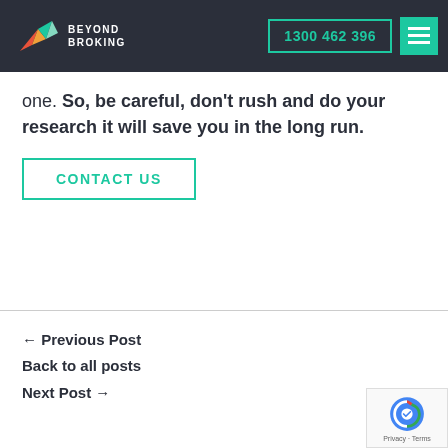Beyond Broking | 1300 462 396
one. So, be careful, don't rush and do your research it will save you in the long run.
CONTACT US
← Previous Post
Back to all posts
Next Post →